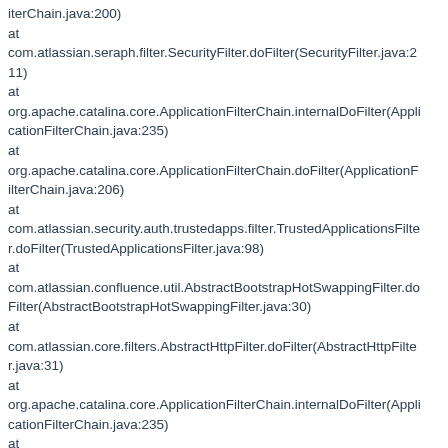iterChain.java:200)
at
com.atlassian.seraph.filter.SecurityFilter.doFilter(SecurityFilter.java:211)
at
org.apache.catalina.core.ApplicationFilterChain.internalDoFilter(ApplicationFilterChain.java:235)
at
org.apache.catalina.core.ApplicationFilterChain.doFilter(ApplicationFilterChain.java:206)
at
com.atlassian.security.auth.trustedapps.filter.TrustedApplicationsFilter.doFilter(TrustedApplicationsFilter.java:98)
at
com.atlassian.confluence.util.AbstractBootstrapHotSwappingFilter.doFilter(AbstractBootstrapHotSwappingFilter.java:30)
at
com.atlassian.core.filters.AbstractHttpFilter.doFilter(AbstractHttpFilter.java:31)
at
org.apache.catalina.core.ApplicationFilterChain.internalDoFilter(ApplicationFilterChain.java:235)
at